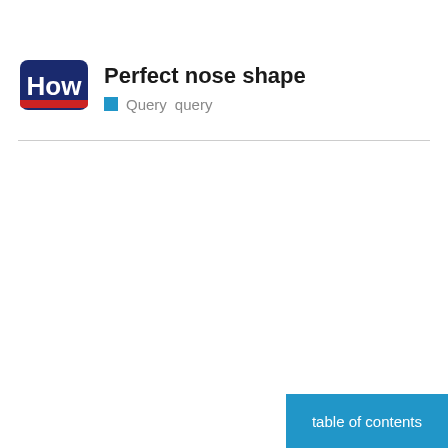[Figure (logo): HowStuffWorks-style logo: dark navy rounded rectangle with red underline accent, white bold text 'How']
Perfect nose shape
Query  query
table of contents